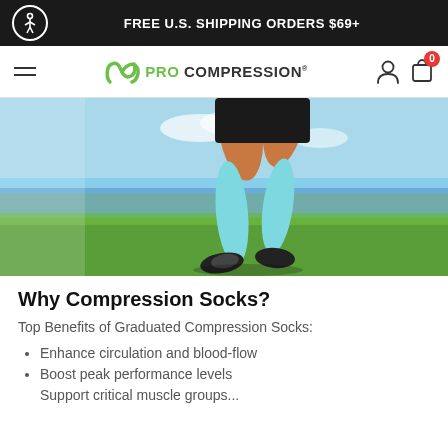FREE U.S. SHIPPING ORDERS $69+
[Figure (logo): Pro Compression logo with PC icon in green and text PRO COMPRESSION]
[Figure (photo): Person running outdoors wearing light blue compression socks, grass and water in background]
Why Compression Socks?
Top Benefits of Graduated Compression Socks:
Enhance circulation and blood-flow
Boost peak performance levels